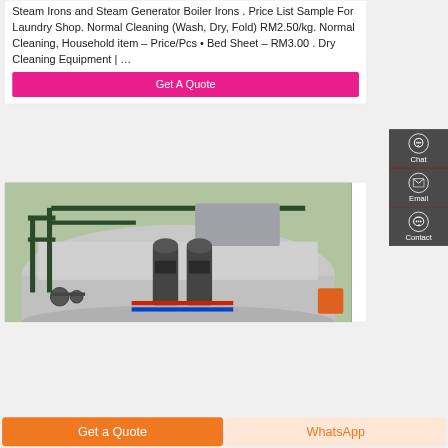Steam Irons and Steam Generator Boiler Irons . Price List Sample For Laundry Shop. Normal Cleaning (Wash, Dry, Fold) RM2.50/kg. Normal Cleaning, Household item – Price/Pcs • Bed Sheet – RM3.00 . Dry Cleaning Equipment | …
[Figure (other): Pink 'Get A Quote' button]
[Figure (photo): Industrial steam boiler room with pipes, valves, and pressure pumps mounted on a large cylindrical tank]
[Figure (infographic): Dark grey side panel with Chat (headset icon), Email (envelope icon), and Contact (speech bubble icon) buttons]
[Figure (other): Bottom navigation bar with orange 'Get a Quote' button and light orange 'WhatsApp' button]